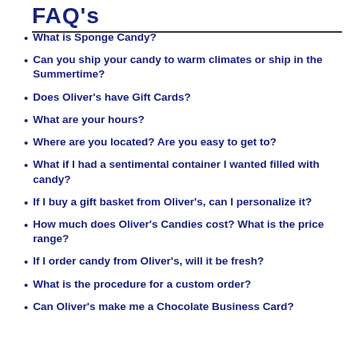FAQ's
What is Sponge Candy?
Can you ship your candy to warm climates or ship in the Summertime?
Does Oliver's have Gift Cards?
What are your hours?
Where are you located? Are you easy to get to?
What if I had a sentimental container I wanted filled with candy?
If I buy a gift basket from Oliver's, can I personalize it?
How much does Oliver's Candies cost? What is the price range?
If I order candy from Oliver's, will it be fresh?
What is the procedure for a custom order?
Can Oliver's make me a Chocolate Business Card?